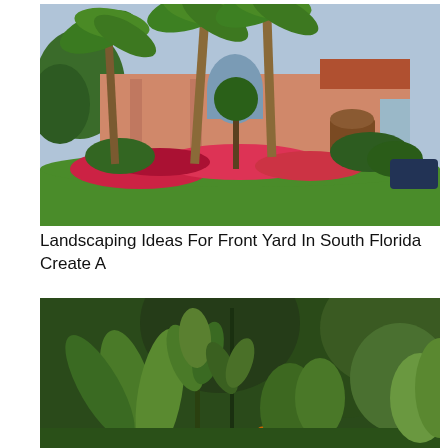[Figure (photo): Photo of a pink/terracotta Florida house with tall palm trees, lush green lawn, and colorful red and pink flower beds in the front yard.]
Landscaping Ideas For Front Yard In South Florida Create A
[Figure (photo): Photo of tropical garden with large green leafy plants, banana-like leaves, and dense trees in the background.]